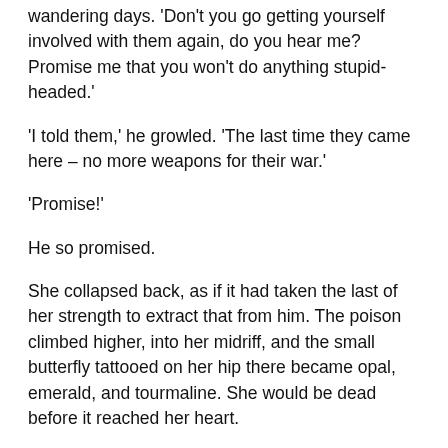wandering days. 'Don't you go getting yourself involved with them again, do you hear me? Promise me that you won't do anything stupid-headed.'
'I told them,' he growled. 'The last time they came here – no more weapons for their war.'
'Promise!'
He so promised.
She collapsed back, as if it had taken the last of her strength to extract that from him. The poison climbed higher, into her midriff, and the small butterfly tattooed on her hip there became opal, emerald, and tourmaline. She would be dead before it reached her heart.
'Make something beautiful from me,' she whispered. 'When it's finished. Make the most beautiful thing you can think of, my darling Wayland.' It was the first time she'd spoken his old name in over